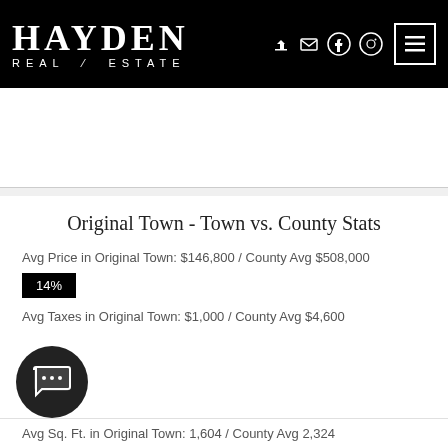HAYDEN REAL ESTATE
Original Town - Town vs. County Stats
Avg Price in Original Town: $146,800 / County Avg $508,000
14%
Avg Taxes in Original Town: $1,000 / County Avg $4,600
Avg Sq. Ft. in Original Town: 1,604 / County Avg 2,324